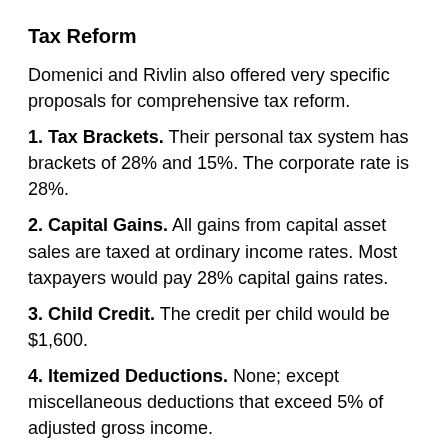Tax Reform
Domenici and Rivlin also offered very specific proposals for comprehensive tax reform.
1. Tax Brackets. Their personal tax system has brackets of 28% and 15%. The corporate rate is 28%.
2. Capital Gains. All gains from capital asset sales are taxed at ordinary income rates. Most taxpayers would pay 28% capital gains rates.
3. Child Credit. The credit per child would be $1,600.
4. Itemized Deductions. None; except miscellaneous deductions that exceed 5% of adjusted gross income.
5. Mortgage Deduction. A 15% credit on interest paid with a limit of $25,000 per year.